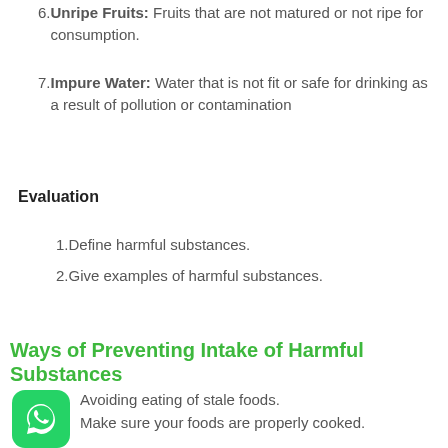6. Unripe Fruits: Fruits that are not matured or not ripe for consumption.
7. Impure Water: Water that is not fit or safe for drinking as a result of pollution or contamination
Evaluation
1. Define harmful substances.
2. Give examples of harmful substances.
Ways of Preventing Intake of Harmful Substances
Avoiding eating of stale foods.
Make sure your foods are properly cooked.